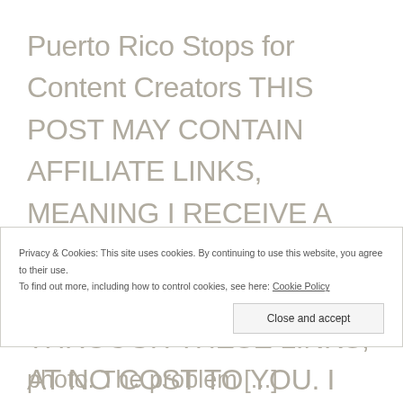Puerto Rico Stops for Content Creators THIS POST MAY CONTAIN AFFILIATE LINKS, MEANING I RECEIVE A COMMISSION FOR PURCHASES MADE THROUGH THESE LINKS, AT NO COST TO YOU. I ONLY RECOMMEND PRODUCTS AND PARTNERS I ABSOLUTELY TRUST, BELIEVE IN, AND WHOSE PRODUCTS/SERVICES I USE AND ENJOY!
Privacy & Cookies: This site uses cookies. By continuing to use this website, you agree to their use. To find out more, including how to control cookies, see here: Cookie Policy
photo. The problem [...]